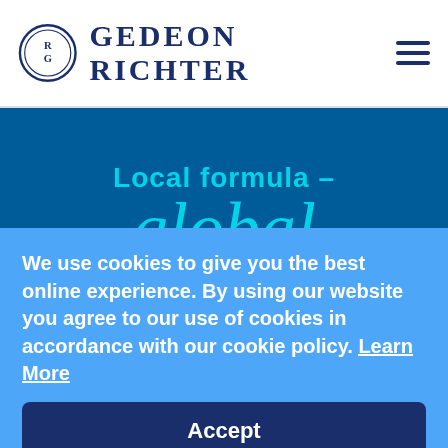Gedeon Richter
[Figure (illustration): Gedeon Richter branding banner with dark blue circular background showing text 'Local formula – global' in teal/cyan script and sans-serif typography]
We use cookies to give you the best online experience. By using our website you agree to our use of cookies in accordance with our cookie policy. Learn More
Accept
Manage